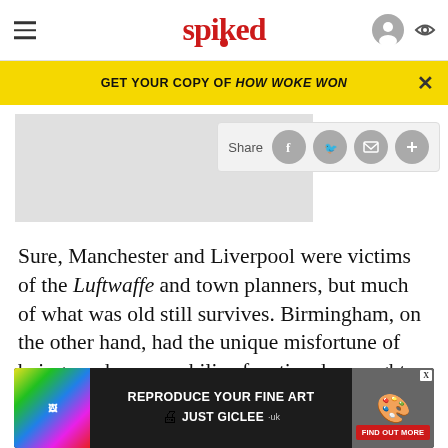spiked
GET YOUR COPY OF HOW WOKE WON
[Figure (screenshot): Article header image placeholder (light gray box)]
Share
Sure, Manchester and Liverpool were victims of the Luftwaffe and town planners, but much of what was old still survives. Birmingham, on the other hand, had the unique misfortune of being run by a neophiliac fanatic who sought, and succeeded, in destroying nearly all of the Victorian parts of the city. This
ABOUT
[Figure (other): Advertisement banner: REPRODUCE YOUR FINE ART - JUST GICLEE - FIND OUT MORE]